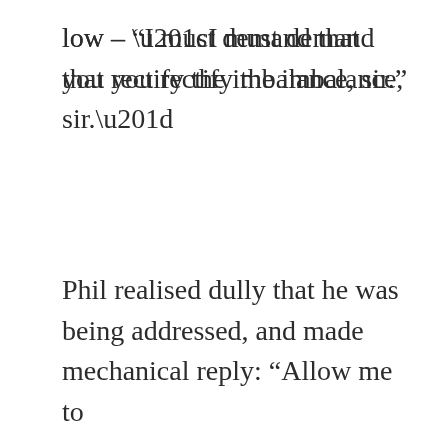low – “I must demand that you rectify the imbalance, sir.”
Phil realised dully that he was being addressed, and made mechanical reply: “Allow me to